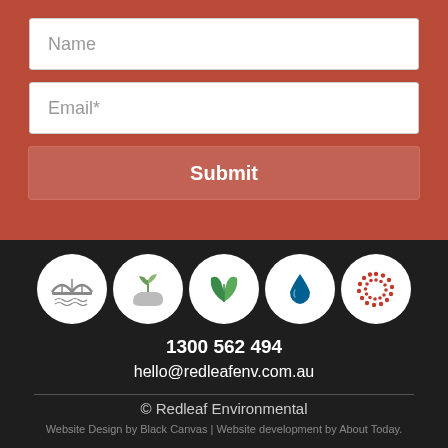Name
Email*
Submit
[Figure (illustration): Five circular icons on dark background: bridge/infrastructure icon, plant/hand icon, green leaves icon, water drop icon, circular dots pattern icon]
1300 562 494
hello@redleafenv.com.au
© Redleaf Environmental
Website Design by Black Canvas | Website development by About Today.